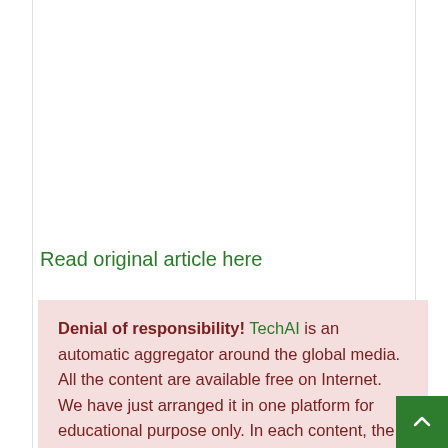Read original article here
Denial of responsibility! TechAI is an automatic aggregator around the global media. All the content are available free on Internet. We have just arranged it in one platform for educational purpose only. In each content, the hyperlink to the primary source is specified. All trademarks belong to their rightful owners, all materials to their